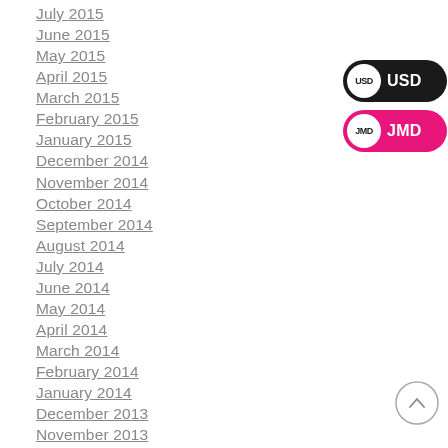July 2015
June 2015
May 2015
April 2015
March 2015
February 2015
January 2015
December 2014
November 2014
October 2014
September 2014
August 2014
July 2014
June 2014
May 2014
April 2014
March 2014
February 2014
January 2014
December 2013
November 2013
[Figure (infographic): USD currency toggle button (dark/black background with white circle containing 'USD' text)]
[Figure (infographic): JMD currency toggle button (pink/magenta background with white circle containing 'JMD' text)]
[Figure (infographic): Scroll-to-top circular arrow button (circle outline with upward arrow)]